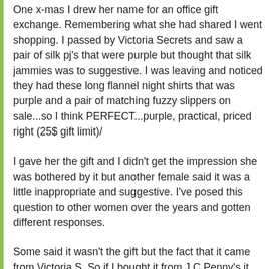One x-mas I drew her name for an office gift exchange. Remembering what she had shared I went shopping. I passed by Victoria Secrets and saw a pair of silk pj's that were purple but thought that silk jammies was to suggestive. I was leaving and noticed they had these long flannel night shirts that was purple and a pair of matching fuzzy slippers on sale...so I think PERFECT...purple, practical, priced right (25$ gift limit)/
I gave her the gift and I didn't get the impression she was bothered by it but another female said it was a little inappropriate and suggestive. I've posed this question to other women over the years and gotten different responses.
Some said it wasn't the gift but the fact that it came from Victoria S. So if I bought it from J.C Penny's it would be ok???? Some said it was